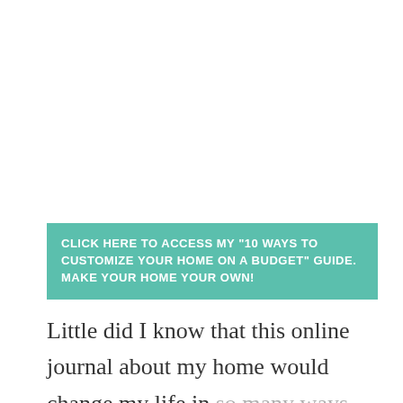CLICK HERE TO ACCESS MY "10 WAYS TO CUSTOMIZE YOUR HOME ON A BUDGET" GUIDE. MAKE YOUR HOME YOUR OWN!
Little did I know that this online journal about my home would change my life in so many ways.